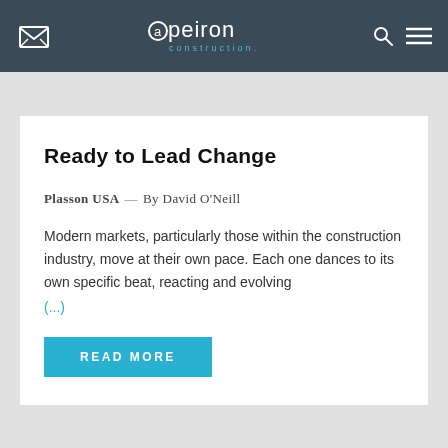apeiron construction.
Ready to Lead Change
Plasson USA — By David O'Neill
Modern markets, particularly those within the construction industry, move at their own pace. Each one dances to its own specific beat, reacting and evolving
(...)
READ MORE